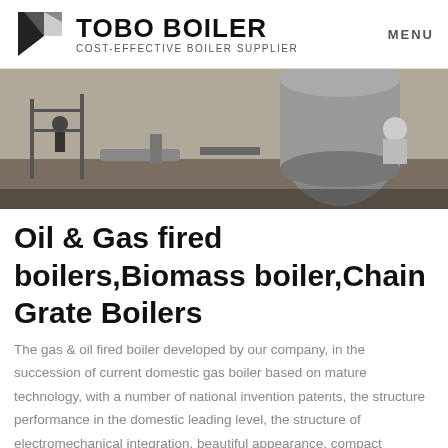TOBO BOILER COST-EFFECTIVE BOILER SUPPLIER | MENU
[Figure (photo): Industrial boiler installation site with workers and large cylindrical boiler equipment outdoors]
Oil & Gas fired boilers,Biomass boiler,Chain Grate Boilers
The gas & oil fired boiler developed by our company, in the succession of current domestic gas boiler based on mature technology, with a number of national invention patents, the structure performance in the domestic leading level, the structure of electromechanical integration, beautiful appearance, compact structure, less space occupation,